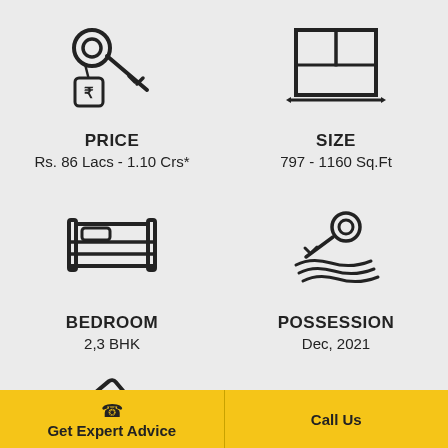[Figure (illustration): Key with rupee tag icon representing price]
PRICE
Rs. 86 Lacs - 1.10 Crs*
[Figure (illustration): Floor plan / layout icon representing size]
SIZE
797 - 1160 Sq.Ft
[Figure (illustration): Bed icon representing bedroom]
BEDROOM
2,3 BHK
[Figure (illustration): Key on hand icon representing possession]
POSSESSION
Dec, 2021
[Figure (illustration): Gavel/hammer icon representing RERA]
RERA NO.
Get Expert Advice
Call Us